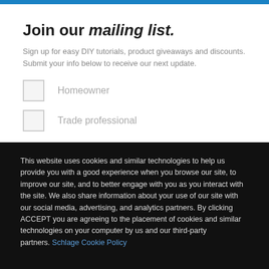Join our mailing list.
Sign up for easy DIY tutorials, product giveaways and discounts. Submit your info below to receive our next update.
Homeowner
Trade professional
This website uses cookies and similar technologies to help us provide you with a good experience when you browse our site, to improve our site, and to better engage with you as you interact with the site. We also share information about your use of our site with our social media, advertising, and analytics partners. By clicking ACCEPT you are agreeing to the placement of cookies and similar technologies on your computer by us and our third-party partners. Schlage Cookie Policy
Cookies Preferences
Accept Cookies